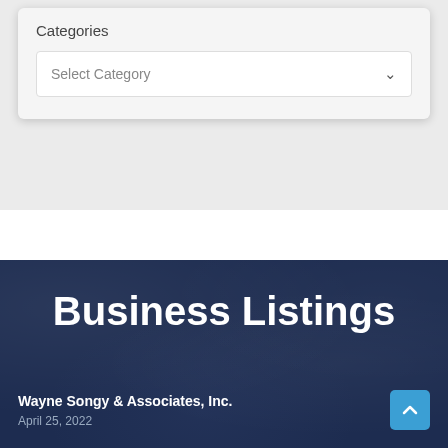Categories
Select Category
Business Listings
Wayne Songy & Associates, Inc.
April 25, 2022